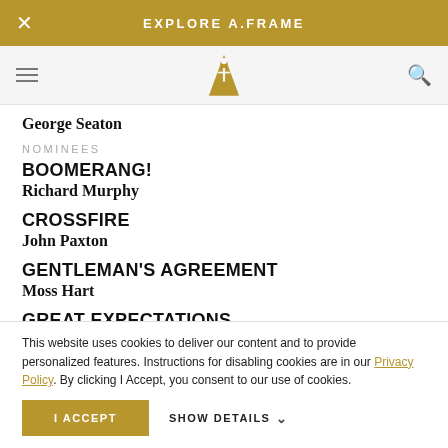EXPLORE A.FRAME
George Seaton
NOMINEES
BOOMERANG!
Richard Murphy
CROSSFIRE
John Paxton
GENTLEMAN'S AGREEMENT
Moss Hart
GREAT EXPECTATIONS
David Lean, Anthony Havelock-Allan, Ronald Neame
This website uses cookies to deliver our content and to provide personalized features. Instructions for disabling cookies are in our Privacy Policy. By clicking I Accept, you consent to our use of cookies.